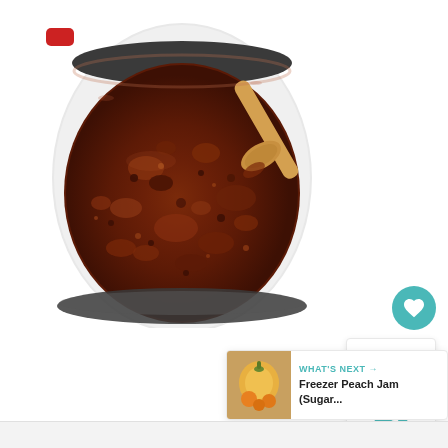[Figure (photo): A white dutch oven pot filled with thick, dark red/brown meat sauce (bolognese or chili-style) being stirred with a wooden spoon. The sauce is chunky with ground meat and appears fully cooked. The pot has sauce splattered on the inside rim.]
[Figure (photo): Small thumbnail image of freezer peach jam in jars]
WHAT'S NEXT → Freezer Peach Jam (Sugar...